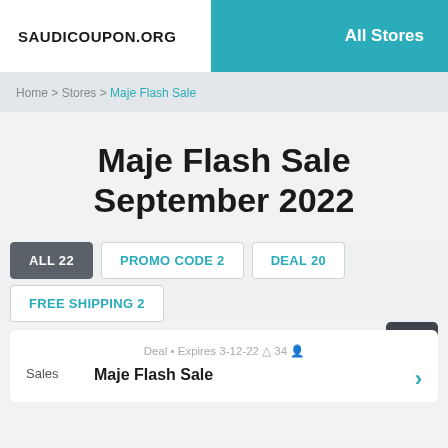SAUDICOUPON.ORG | All Stores
Home > Stores > Maje Flash Sale
Maje Flash Sale September 2022
ALL 22  PROMO CODE 2  DEAL 20  FREE SHIPPING 2
Deal • Expires 3-12-22  34
Sales  Maje Flash Sale